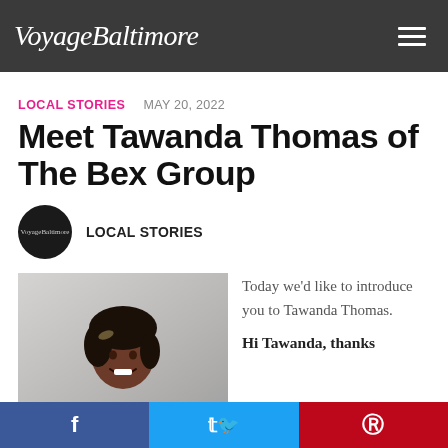VoyageBaltimore
LOCAL STORIES   MAY 20, 2022
Meet Tawanda Thomas of The Bex Group
LOCAL STORIES
[Figure (photo): Portrait photo of Tawanda Thomas smiling]
Today we'd like to introduce you to Tawanda Thomas.
Hi Tawanda, thanks